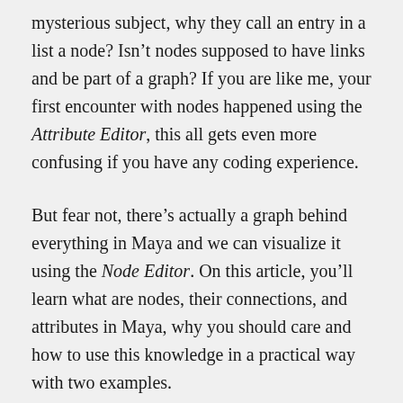mysterious subject, why they call an entry in a list a node? Isn't nodes supposed to have links and be part of a graph? If you are like me, your first encounter with nodes happened using the Attribute Editor, this all gets even more confusing if you have any coding experience.
But fear not, there's actually a graph behind everything in Maya and we can visualize it using the Node Editor. On this article, you'll learn what are nodes, their connections, and attributes in Maya, why you should care and how to use this knowledge in a practical way with two examples.